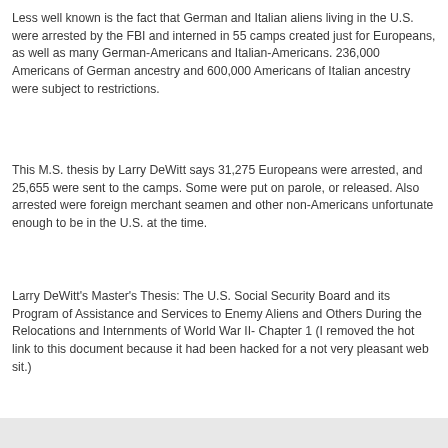Less well known is the fact that German and Italian aliens living in the U.S. were arrested by the FBI and interned in 55 camps created just for Europeans, as well as many German-Americans and Italian-Americans. 236,000 Americans of German ancestry and 600,000 Americans of Italian ancestry were subject to restrictions.
This M.S. thesis by Larry DeWitt says 31,275 Europeans were arrested, and 25,655 were sent to the camps. Some were put on parole, or released. Also arrested were foreign merchant seamen and other non-Americans unfortunate enough to be in the U.S. at the time.
Larry DeWitt's Master's Thesis: The U.S. Social Security Board and its Program of Assistance and Services to Enemy Aliens and Others During the Relocations and Internments of World War II- Chapter 1 (I removed the hot link to this document because it had been hacked for a not very pleasant web sit.)